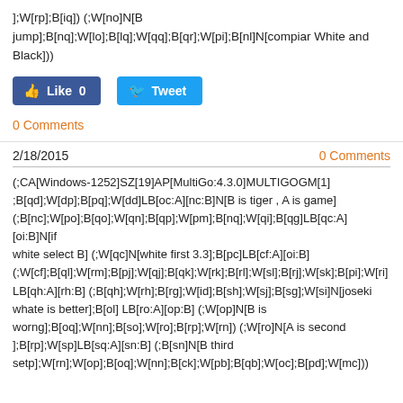];W[rp];B[iq]) (;W[no]N[B jump];B[nq];W[lo];B[lq];W[qq];B[qr];W[pi];B[nl]N[compiar White and Black]))
[Figure (screenshot): Social media buttons: a Facebook Like button showing '0' and a Twitter Tweet button]
0 Comments
2/18/2015
0 Comments
(;CA[Windows-1252]SZ[19]AP[MultiGo:4.3.0]MULTIGOGM[1] ;B[qd];W[dp];B[pq];W[dd]LB[oc:A][nc:B]N[B is tiger , A is game] (;B[nc];W[po];B[qo];W[qn];B[qp];W[pm];B[nq];W[qi];B[qg]LB[qc:A][oi:B]N[if white select B] (;W[qc]N[white first 3.3];B[pc]LB[cf:A][oi:B] (;W[cf];B[ql];W[rm];B[pj];W[qj];B[qk];W[rk];B[rl];W[sl];B[rj];W[sk];B[pi];W[ri] LB[qh:A][rh:B] (;B[qh];W[rh];B[rg];W[id];B[sh];W[sj];B[sg];W[si]N[joseki whate is better];B[ol] LB[ro:A][op:B] (;W[op]N[B is worng];B[oq];W[nn];B[so];W[ro];B[rp];W[rn]) (;W[ro]N[A is second ];B[rp];W[sp]LB[sq:A][sn:B] (;B[sn]N[B third setp];W[rn];W[op];B[oq];W[nn];B[ck];W[pb];B[qb];W[oc];B[pd];W[mc]))